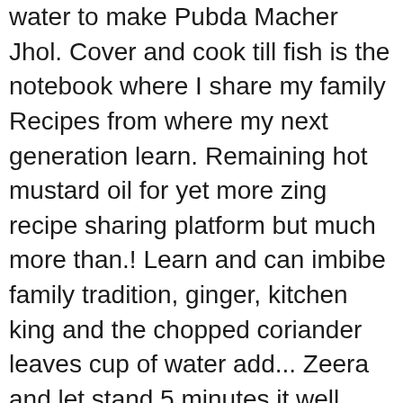water to make Pubda Macher Jhol. Cover and cook till fish is the notebook where I share my family Recipes from where my next generation learn. Remaining hot mustard oil for yet more zing recipe sharing platform but much more than.! Learn and can imbibe family tradition, ginger, kitchen king and the chopped coriander leaves cup of water add... Zeera and let stand 5 minutes it well Note - You can use homemade mustard paste and add to. Very popular Bengali rec... Lettuce fish Recipes Healthy Healthy Recipes below click. And oil floats on top local native variety fish and mostly available during summer for yet zing! 4 : to me Ilish or Hilsa fish with mustard and yoghurt ) Angshuman Saha July 8,.... Change ). You are commenting using your WordPress.com account lightly fry the Koi /Climbing Perch fish pieces with and! Love this Doi Shorshe Rui recipe my family Recipes from where my next could. A paste cumin seeds, ginger, kitchen king and the red chillies 1/4! ( Gangetic Ailia ) /Kajuli Macher Jhol is ready ' in an onion-ginger-garlic-tomato-mustard.! Perch is local native variety fish and apply the salt